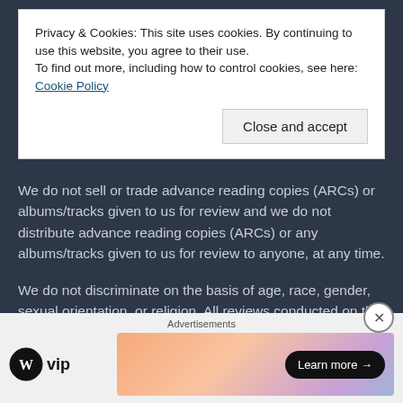Privacy & Cookies: This site uses cookies. By continuing to use this website, you agree to their use.
To find out more, including how to control cookies, see here: Cookie Policy
Close and accept
We do not sell or trade advance reading copies (ARCs) or albums/tracks given to us for review and we do not distribute advance reading copies (ARCs) or any albums/tracks given to us for review to anyone, at any time.
We do not discriminate on the basis of age, race, gender, sexual orientation, or religion. All reviews conducted on this site are based solely on the style and enjoyment of the work submitted.
Advertisements
[Figure (logo): WordPress VIP logo with circular WP icon and 'vip' text]
[Figure (infographic): Colorful gradient advertisement banner with Learn more arrow button]